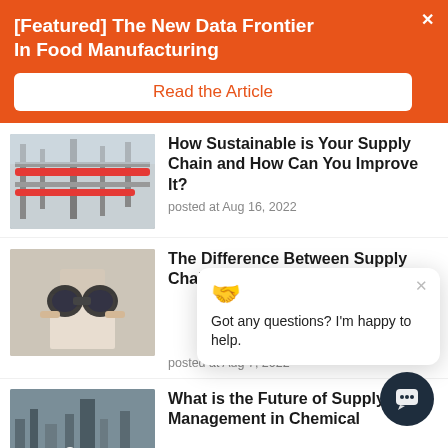[Featured] The New Data Frontier In Food Manufacturing
Read the Article
[Figure (photo): Industrial pipes and scaffolding structure]
How Sustainable is Your Supply Chain and How Can You Improve It?
posted at Aug 16, 2022
[Figure (photo): Person looking through binoculars]
The Difference Between Supply Chain Visibility
posted at Aug 7, 2022
Got any questions? I'm happy to help.
[Figure (photo): Chemical plant workers in hard hats]
What is the Future of Supply Chain Management in Chemical